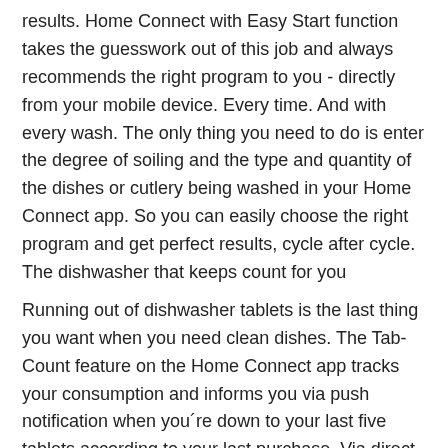results. Home Connect with Easy Start function takes the guesswork out of this job and always recommends the right program to you - directly from your mobile device. Every time. And with every wash. The only thing you need to do is enter the degree of soiling and the type and quantity of the dishes or cutlery being washed in your Home Connect app. So you can easily choose the right program and get perfect results, cycle after cycle. The dishwasher that keeps count for you
Running out of dishwasher tablets is the last thing you want when you need clean dishes. The Tab-Count feature on the Home Connect app tracks your consumption and informs you via push notification when you´re down to your last five tablets according to your last purchase. Via direct link you can conveniently reorder a new pack. Finally, a dishwasher that looks after itself
The dishwasher that keeps you in the loop
Waiting around for your dishwasher to finish can waste time and cause unnecessary stress. Especially for those with busy schedules